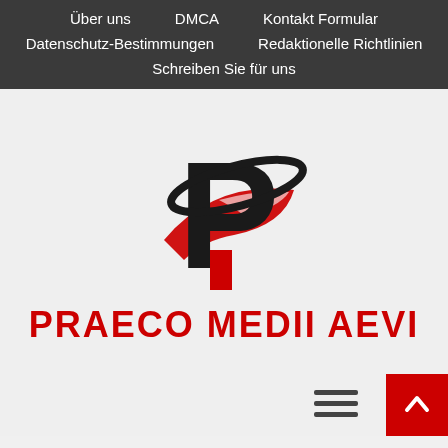Über uns | DMCA | Kontakt Formular | Datenschutz-Bestimmungen | Redaktionelle Richtlinien | Schreiben Sie für uns
[Figure (logo): Praeco Medii Aevi logo: a bold black letter P with a red swoosh/orbit and red stem, above the red uppercase text PRAECO MEDII AEVI]